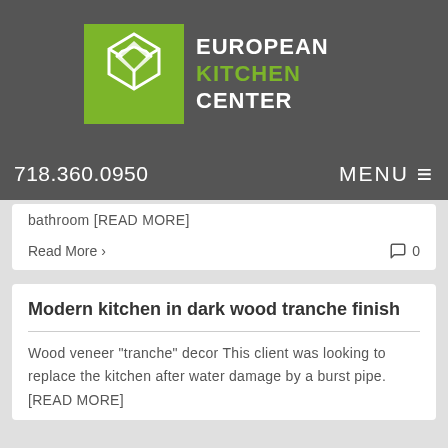[Figure (logo): European Kitchen Center logo — green square with white geometric arrow/cube icon, text 'EUROPEAN KITCHEN CENTER' in white and green on dark grey background]
718.360.0950   MENU ≡
bathroom [READ MORE]
Read More >   0
Modern kitchen in dark wood tranche finish
Wood veneer "tranche" decor This client was looking to replace the kitchen after water damage by a burst pipe. [READ MORE]